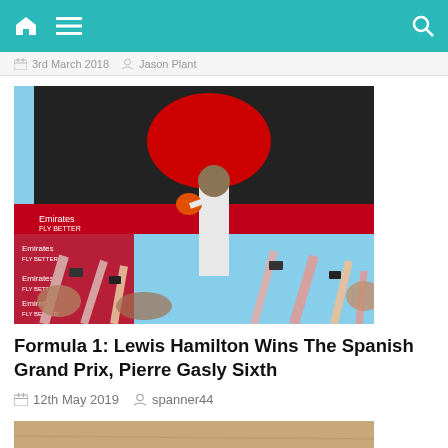Navigation bar with home, menu, and search icons
3rd March 2018  Jason Plant
[Figure (photo): Lewis Hamilton on podium holding helmet above a crowd of fans taking photos, Formula 1 branding and Emirates FlyBetter banners in background]
Formula 1: Lewis Hamilton Wins The Spanish Grand Prix, Pierre Gasly Sixth
12th May 2019  spanner44
[Figure (photo): Partial view of a second article image showing a wooden surface texture]